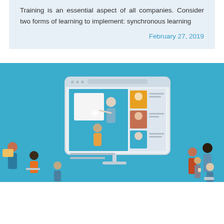Training is an essential aspect of all companies. Consider two forms of learning to implement: synchronous learning
February 27, 2019
[Figure (illustration): Flat-style illustration of online/synchronous learning: a large laptop/monitor displays a video conference screen with a presenter and a whiteboard, plus a grid of participant video tiles. Around the monitor are various people with devices — some sitting, some standing — representing remote learners and office workers engaged in e-learning.]